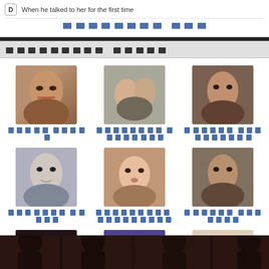D  When he talked to her for the first time
[blocked link text]
[blocked section header text]
[Figure (photo): Grid of 9 character photos with blocked Cyrillic labels]
[blocked more link] >>
[Figure (photo): Dark background image with character silhouettes at bottom]